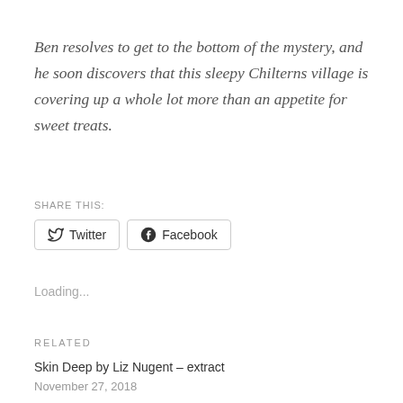Ben resolves to get to the bottom of the mystery, and he soon discovers that this sleepy Chilterns village is covering up a whole lot more than an appetite for sweet treats.
SHARE THIS:
[Figure (other): Twitter and Facebook share buttons]
Loading...
RELATED
Skin Deep by Liz Nugent – extract
November 27, 2018